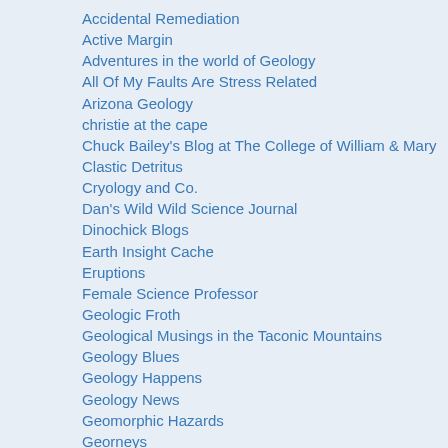Accidental Remediation
Active Margin
Adventures in the world of Geology
All Of My Faults Are Stress Related
Arizona Geology
christie at the cape
Chuck Bailey's Blog at The College of William & Mary
Clastic Detritus
Cryology and Co.
Dan's Wild Wild Science Journal
Dinochick Blogs
Earth Insight Cache
Eruptions
Female Science Professor
Geologic Froth
Geological Musings in the Taconic Mountains
Geology Blues
Geology Happens
Geology News
Geomorphic Hazards
Georneys
GeoSpace
Geotripper
goodSchist
Got the Time